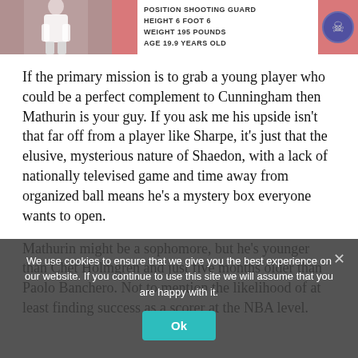[Figure (photo): Top banner with player photo on left, pink block, player stats text in center, pink block with team logo on right. Stats: POSITION SHOOTING GUARD, HEIGHT 6 FOOT 6, WEIGHT 195 POUNDS, AGE 19.9 YEARS OLD]
If the primary mission is to grab a young player who could be a perfect complement to Cunningham then Mathurin is your guy. If you ask me his upside isn't that far off from a player like Sharpe, it's just that the elusive, mysterious nature of Shaedon, with a lack of nationally televised game and time away from organized ball means he's a mystery box everyone wants to open.
Mathurin might be a sophomore, but he's younger than Chet Holmgren and just five months older than Paolo Banchero. Not to mention the likelihood of at least finding success as a scorer at the NBA level.
We use cookies to ensure that we give you the best experience on our website. If you continue to use this site we will assume that you are happy with it.